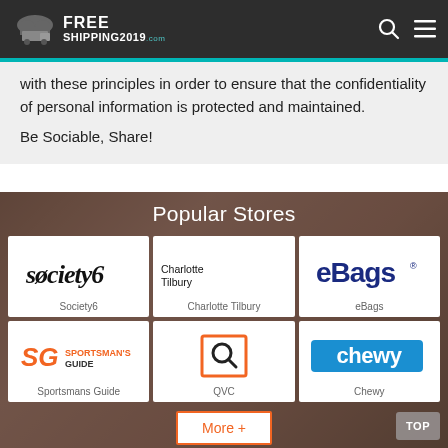FREE SHIPPING 2019.com
with these principles in order to ensure that the confidentiality of personal information is protected and maintained.
Be Sociable, Share!
Popular Stores
[Figure (logo): Society6 store logo - stylized text 'society6']
Society6
[Figure (logo): Charlotte Tilbury store logo - black serif text]
Charlotte Tilbury
[Figure (logo): eBags store logo - blue text]
eBags
[Figure (logo): Sportsman's Guide store logo - orange SG icon with text]
Sportsmans Guide
[Figure (logo): QVC store logo - search icon in orange square]
QVC
[Figure (logo): Chewy store logo - white text on blue background]
Chewy
More +